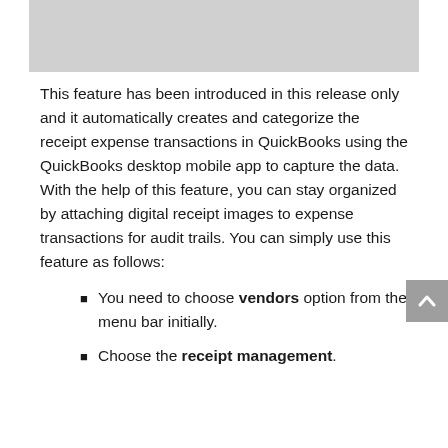[Figure (screenshot): Screenshot or image placeholder at top of page, gray background]
This feature has been introduced in this release only and it automatically creates and categorize the receipt expense transactions in QuickBooks using the QuickBooks desktop mobile app to capture the data. With the help of this feature, you can stay organized by attaching digital receipt images to expense transactions for audit trails. You can simply use this feature as follows:
You need to choose vendors option from the menu bar initially.
Choose the receipt management.